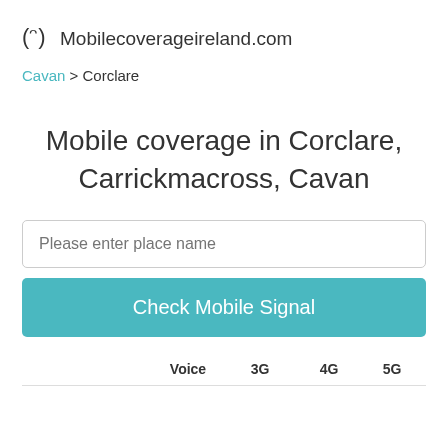Mobilecoverageireland.com
Cavan > Corclare
Mobile coverage in Corclare, Carrickmacross, Cavan
Please enter place name
Check Mobile Signal
|  | Voice | 3G | 4G | 5G |
| --- | --- | --- | --- | --- |